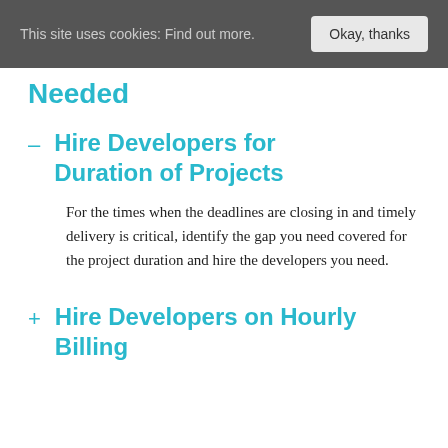This site uses cookies: Find out more.  Okay, thanks
Needed
Hire Developers for Duration of Projects
For the times when the deadlines are closing in and timely delivery is critical, identify the gap you need covered for the project duration and hire the developers you need.
Hire Developers on Hourly Billing